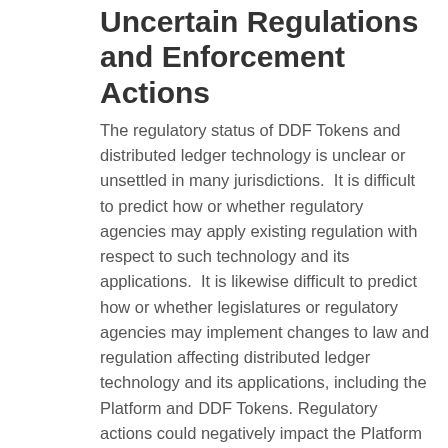Uncertain Regulations and Enforcement Actions
The regulatory status of DDF Tokens and distributed ledger technology is unclear or unsettled in many jurisdictions.  It is difficult to predict how or whether regulatory agencies may apply existing regulation with respect to such technology and its applications.  It is likewise difficult to predict how or whether legislatures or regulatory agencies may implement changes to law and regulation affecting distributed ledger technology and its applications, including the Platform and DDF Tokens. Regulatory actions could negatively impact the Platform and DDF Tokens in various ways, including, for purposes of illustration only, through a determination that DDF Tokens are a regulated financial instrument that requires registration or licensing.  Company may cease operations in a jurisdiction in the event that regulatory actions, or changes to law or regulation, make it illegal to operate